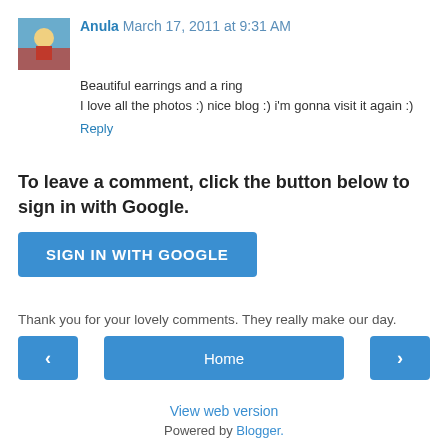Anula March 17, 2011 at 9:31 AM
Beautiful earrings and a ring
I love all the photos :) nice blog :) i'm gonna visit it again :)
Reply
To leave a comment, click the button below to sign in with Google.
[Figure (other): SIGN IN WITH GOOGLE button]
Thank you for your lovely comments. They really make our day.
[Figure (other): Navigation bar with left arrow, Home button, and right arrow]
View web version
Powered by Blogger.